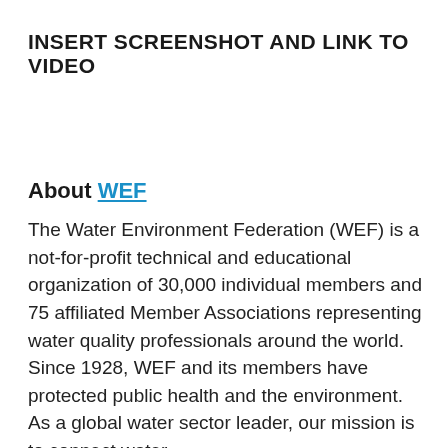INSERT SCREENSHOT AND LINK TO VIDEO
About WEF
The Water Environment Federation (WEF) is a not-for-profit technical and educational organization of 30,000 individual members and 75 affiliated Member Associations representing water quality professionals around the world. Since 1928, WEF and its members have protected public health and the environment. As a global water sector leader, our mission is to connect water